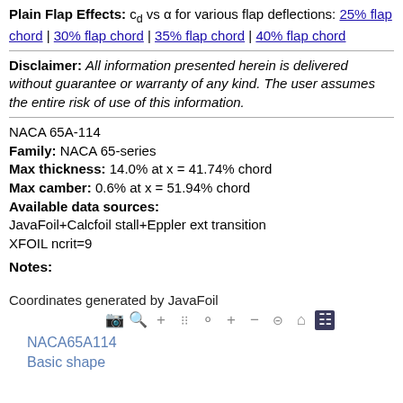Plain Flap Effects: c_d vs α for various flap deflections: 25% flap chord | 30% flap chord | 35% flap chord | 40% flap chord
Disclaimer: All information presented herein is delivered without guarantee or warranty of any kind. The user assumes the entire risk of use of this information.
NACA 65A-114
Family: NACA 65-series
Max thickness: 14.0% at x = 41.74% chord
Max camber: 0.6% at x = 51.94% chord
Available data sources:
JavaFoil+Calcfoil stall+Eppler ext transition
XFOIL ncrit=9
Notes:
Coordinates generated by JavaFoil
[Figure (screenshot): Toolbar with icons: camera, zoom, plus, selection, lasso, crosshair, plus-box, minus-box, resize, home, bar-chart]
NACA65A114
Basic shape